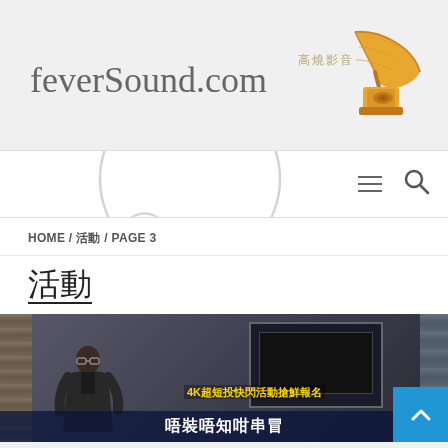feverSound.com 高燒影音
HOME / 活動 / PAGE 3
活動
[Figure (screenshot): Article thumbnail showing a man standing next to a large screen in a home theater/library setting, with Chinese text overlay reading '4K超短投快閃活動搶鮮報名' and additional Chinese text below]